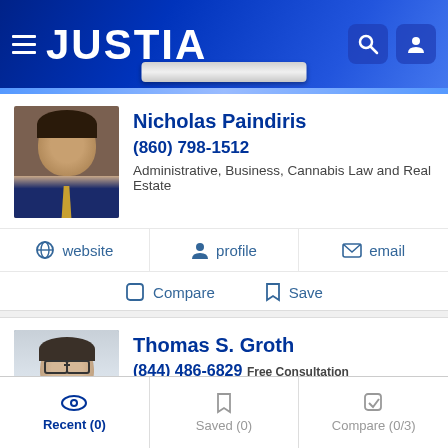JUSTIA
[Figure (photo): Headshot of Nicholas Paindiris, a middle-aged man in a suit with a yellow tie]
Nicholas Paindiris
(860) 798-1512
Administrative, Business, Cannabis Law and Real Estate
website | profile | email
Compare | Save
[Figure (photo): Headshot of Thomas S. Groth, a younger man with glasses]
Thomas S. Groth
(844) 486-6829 Free Consultation
Administrative, Estate Planning, Probate and Tax
website | profile | email
Recent (0) | Saved (0) | Compare (0/3)